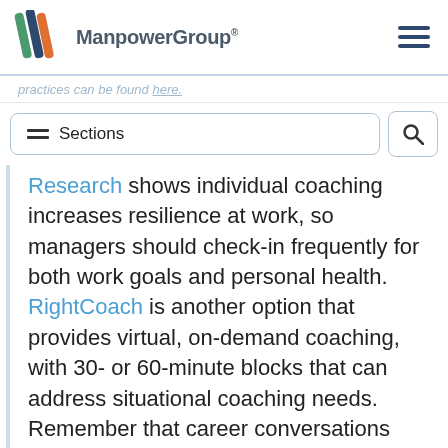ManpowerGroup
practices can be found here.
Sections
Research shows individual coaching increases resilience at work, so managers should check-in frequently for both work goals and personal health. RightCoach is another option that provides virtual, on-demand coaching, with 30- or 60-minute blocks that can address situational coaching needs. Remember that career conversations are